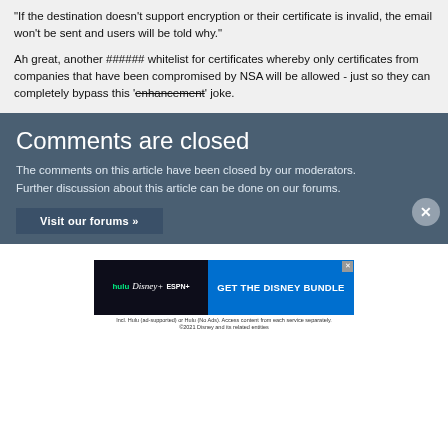"If the destination doesn't support encryption or their certificate is invalid, the email won't be sent and users will be told why."
Ah great, another ###### whitelist for certificates whereby only certificates from companies that have been compromised by NSA will be allowed - just so they can completely bypass this 'enhancement' joke.
Comments are closed
The comments on this article have been closed by our moderators. Further discussion about this article can be done on our forums.
Visit our forums »
[Figure (infographic): Disney Bundle advertisement banner with Hulu, Disney+, ESPN+ logos and 'GET THE DISNEY BUNDLE' call to action button. Fine print: Incl. Hulu (ad-supported) or Hulu (No Ads). Access content from each service separately. ©2021 Disney and its related entities.]